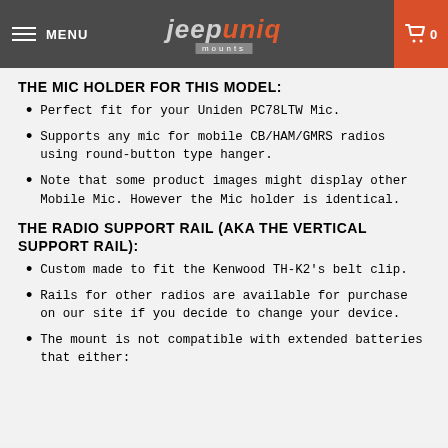MENU | jeepuniq mounts | 0
THE MIC HOLDER FOR THIS MODEL:
Perfect fit for your Uniden PC78LTW Mic.
Supports any mic for mobile CB/HAM/GMRS radios using round-button type hanger.
Note that some product images might display other Mobile Mic. However the Mic holder is identical.
THE RADIO SUPPORT RAIL (AKA THE VERTICAL SUPPORT RAIL):
Custom made to fit the Kenwood TH-K2's belt clip.
Rails for other radios are available for purchase on our site if you decide to change your device.
The mount is not compatible with extended batteries that either: